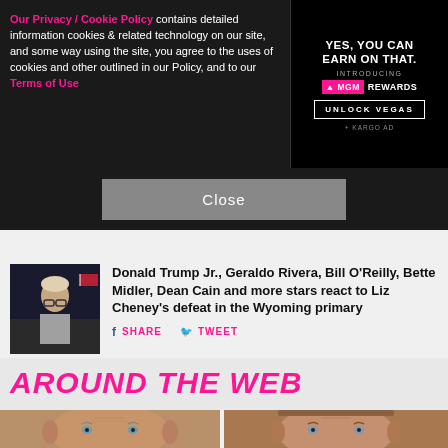Our Privacy / Cookie Policy contains detailed information cookies & related technology on our site, and some way using the site, you agree to the uses of cookies and other outlined in our Policy, and to our Terms of Use
[Figure (photo): Advertisement banner: YES. YOU CAN EARN ON THAT. INTRODUCING MGM REWARDS. UNLOCK VEGAS button. + KARGO AD]
Close
[Figure (photo): Thumbnail photo of a blonde woman with glasses]
Donald Trump Jr., Geraldo Rivera, Bill O'Reilly, Bette Midler, Dean Cain and more stars react to Liz Cheney's defeat in the Wyoming primary
SHARE  TWEET
AROUND THE WEB
[Figure (photo): Close-up face of an older bald man]
[Figure (photo): Close-up face of a man]